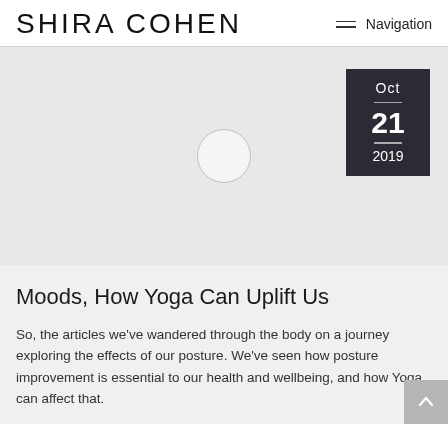Shira Cohen — Navigation
[Figure (photo): Hero image area with light gray background, a circular loading spinner/placeholder in the center, and a dark date badge in the top-right showing Oct 21 2019]
Moods, How Yoga Can Uplift Us
So, the articles we've wandered through the body on a journey exploring the effects of our posture. We've seen how posture improvement is essential to our health and wellbeing, and how Yoga can affect that.